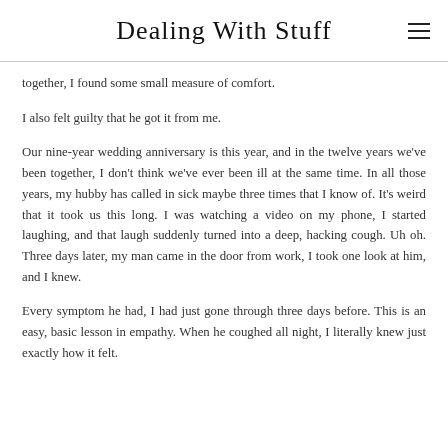Dealing With Stuff
together, I found some small measure of comfort.
I also felt guilty that he got it from me.
Our nine-year wedding anniversary is this year, and in the twelve years we've been together, I don't think we've ever been ill at the same time. In all those years, my hubby has called in sick maybe three times that I know of. It's weird that it took us this long. I was watching a video on my phone, I started laughing, and that laugh suddenly turned into a deep, hacking cough. Uh oh. Three days later, my man came in the door from work, I took one look at him, and I knew.
Every symptom he had, I had just gone through three days before. This is an easy, basic lesson in empathy. When he coughed all night, I literally knew just exactly how it felt.